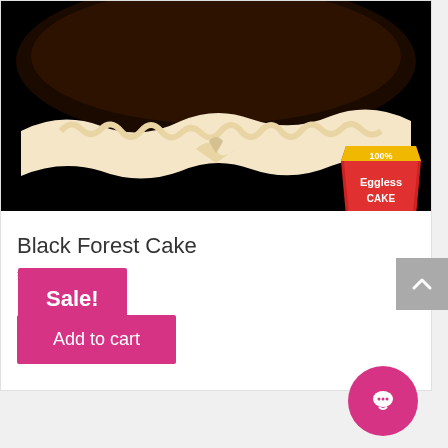[Figure (photo): Black Forest Cake photo with black background, cream frosting decoration visible at top, with a red '100% Eggless Cake' badge in the bottom right corner of the image]
Black Forest Cake
₹499.00
Add to cart
Sale!